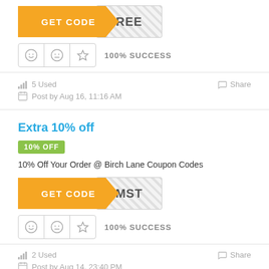[Figure (other): GET CODE button with orange background and diagonal edge, showing 'REE' text on striped reveal area]
[Figure (other): Rating icons row with smiley, neutral, star icons and 100% SUCCESS text]
5 Used
Share
Post by Aug 16, 11:16 AM
Extra 10% off
10% OFF
10% Off Your Order @ Birch Lane Coupon Codes
[Figure (other): GET CODE button with orange background and diagonal edge, showing 'MST' text on striped reveal area]
[Figure (other): Rating icons row with smiley, neutral, star icons and 100% SUCCESS text]
2 Used
Share
Post by Aug 14, 23:40 PM